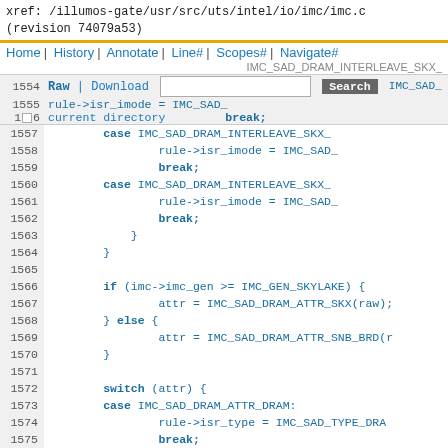xref: /illumos-gate/usr/src/uts/intel/io/imc/imc.c
(revision 74079a53)
Home | History | Annotate | Line# | Scopes# | Navigate#
1554 | Raw | Download  [Search]  IMC_SAD_DRAM_INTERLEAVE_SKX_
1555                                  rule->isr_imode  IMC_SAD_
1 6 current directory            break;
1557         case IMC_SAD_DRAM_INTERLEAVE_SKX_
1558                    rule->isr_imode = IMC_SAD_
1559                    break;
1560         case IMC_SAD_DRAM_INTERLEAVE_SKX_
1561                    rule->isr_imode = IMC_SAD_
1562                    break;
1563                 }
1564             }
1565
1566             if (imc->imc_gen >= IMC_GEN_SKYLAKE) {
1567                    attr = IMC_SAD_DRAM_ATTR_SKX(raw);
1568             } else {
1569                    attr = IMC_SAD_DRAM_ATTR_SNB_BRD(r
1570             }
1571
1572             switch (attr) {
1573             case IMC_SAD_DRAM_ATTR_DRAM:
1574                    rule->isr_type = IMC_SAD_TYPE_DRA
1575                    break;
1576             case IMC_SAD_DRAM_ATTR_MMCFG:
1577                    rule->isr_type = IMC_SAD_TYPE_MMC
1578                    break;
1579                    IMC_SAD_DRAM_ATTR_NUM